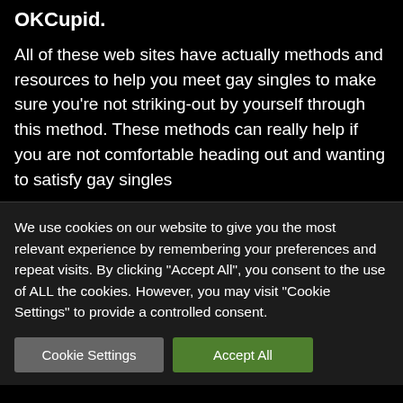OKCupid.
All of these web sites have actually methods and resources to help you meet gay singles to make sure you're not striking-out by yourself through this method. These methods can really help if you are not comfortable heading out and wanting to satisfy gay singles
We use cookies on our website to give you the most relevant experience by remembering your preferences and repeat visits. By clicking "Accept All", you consent to the use of ALL the cookies. However, you may visit "Cookie Settings" to provide a controlled consent.
Cookie Settings
Accept All